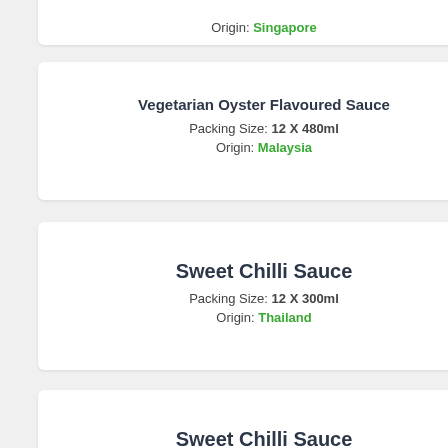Origin: Singapore
Vegetarian Oyster Flavoured Sauce
Packing Size: 12 X 480ml
Origin: Malaysia
Sweet Chilli Sauce
Packing Size: 12 X 300ml
Origin: Thailand
Sweet Chilli Sauce
Packing Size: 12 X 700ml
Origin: Thailand